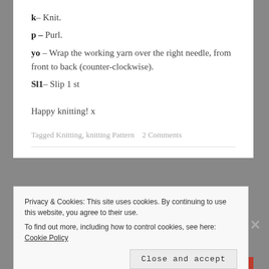k – Knit.
p – Purl.
yo – Wrap the working yarn over the right needle, from front to back (counter-clockwise).
Sl1 – Slip 1 st
Happy knitting! x
Tagged Knitting, knitting Pattern   2 Comments
Privacy & Cookies: This site uses cookies. By continuing to use this website, you agree to their use. To find out more, including how to control cookies, see here: Cookie Policy
Close and accept